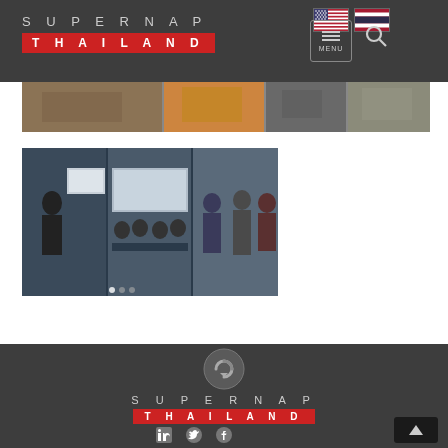[Figure (logo): SUPERNAP THAILAND logo - grey text on dark background with red banner]
[Figure (photo): Partial image strip of conference or event photos at top of content area]
[Figure (photo): Conference/event photos showing presenter at podium, panel discussion, and networking - three panels side by side]
[Figure (logo): SUPERNAP THAILAND footer logo with circular arrow icon above text and red THAILAND banner]
[Figure (screenshot): Social media icons (LinkedIn, Twitter, Facebook) at bottom of footer]